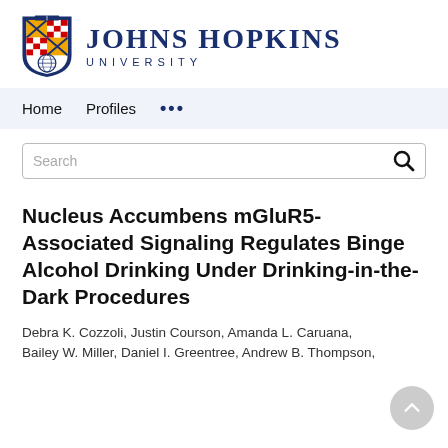[Figure (logo): Johns Hopkins University logo with shield and text]
Home   Profiles   ...
Search
Nucleus Accumbens mGluR5-Associated Signaling Regulates Binge Alcohol Drinking Under Drinking-in-the-Dark Procedures
Debra K. Cozzoli, Justin Courson, Amanda L. Caruana, Bailey W. Miller, Daniel I. Greentree, Andrew B. Thompson,